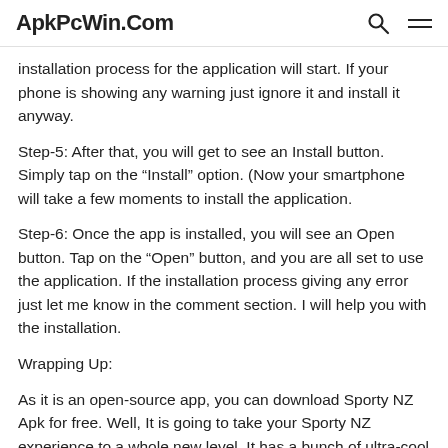ApkPcWin.Com
installation process for the application will start. If your phone is showing any warning just ignore it and install it anyway.
Step-5: After that, you will get to see an Install button. Simply tap on the “Install” option. (Now your smartphone will take a few moments to install the application.
Step-6: Once the app is installed, you will see an Open button. Tap on the “Open” button, and you are all set to use the application. If the installation process giving any error just let me know in the comment section. I will help you with the installation.
Wrapping Up:
As it is an open-source app, you can download Sporty NZ Apk for free. Well, It is going to take your Sporty NZ experience to a whole new level. It has a bunch of ultra-cool features.
We hope you like the post, share it with your friends and family, they will also found it useful. Still, want to ask anything? Leave